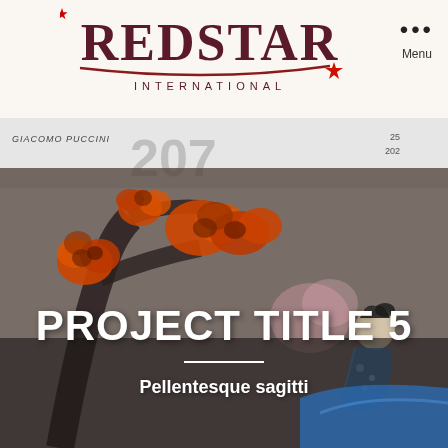[Figure (logo): Red Star International logo with serif bold text and red underline swoosh with star, and 'INTERNATIONAL' in spaced caps below]
Menu
[Figure (photo): A Japanese-themed stamp or artwork image featuring a geisha figure with orange cherry blossom flowers and blue kimono, with text overlay 'PROJECT TITLE 5' and subtitle 'Pellentesque sagitti']
PROJECT TITLE 5
Pellentesque sagitti